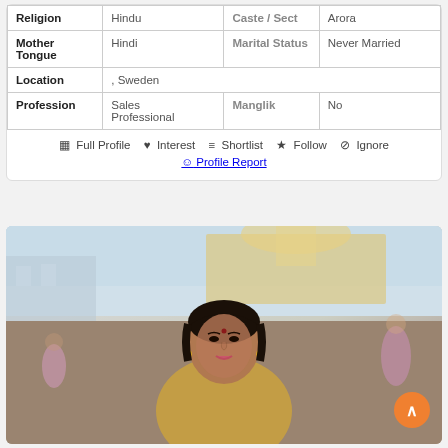| Religion | Hindu | Caste / Sect | Arora |
| Mother Tongue | Hindi | Marital Status | Never Married |
| Location | , Sweden |  |  |
| Profession | Sales Professional | Manglik | No |
Full Profile   Interest   Shortlist   Follow   Ignore
Profile Report
[Figure (photo): Portrait photo of a woman with dark hair, bindi on forehead, wearing earrings, photographed outdoors with a blurred architectural/urban background]